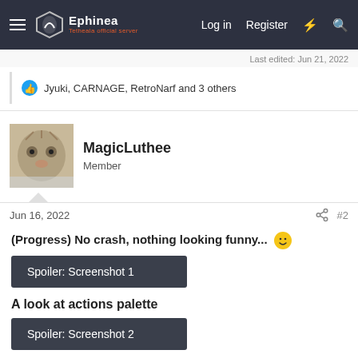Ephinea — Tetheala official server | Log in | Register
Last edited: Jun 21, 2022
👍 Jyuki, CARNAGE, RetroNarf and 3 others
MagicLuthee
Member
Jun 16, 2022  #2
(Progress) No crash, nothing looking funny... 🙂
Spoiler: Screenshot 1
A look at actions palette
Spoiler: Screenshot 2